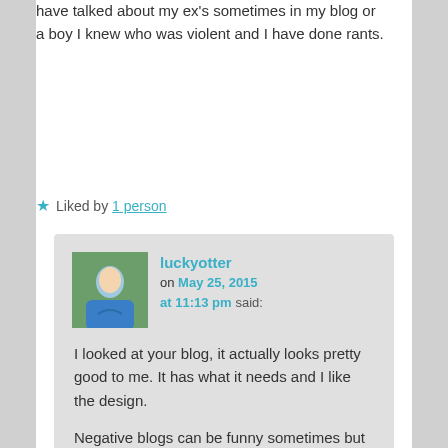have talked about my ex's sometimes in my blog or a boy I knew who was violent and I have done rants.
★ Liked by 1 person
luckyotter on May 25, 2015 at 11:13 pm said:
I looked at your blog, it actually looks pretty good to me. It has what it needs and I like the design.
Negative blogs can be funny sometimes but they get boring fast.